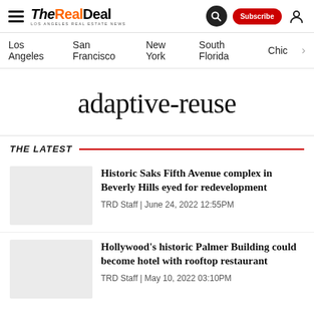The Real Deal — Los Angeles Real Estate News
adaptive-reuse
THE LATEST
Historic Saks Fifth Avenue complex in Beverly Hills eyed for redevelopment — TRD Staff | June 24, 2022 12:55PM
Hollywood's historic Palmer Building could become hotel with rooftop restaurant — TRD Staff | May 10, 2022 03:10PM